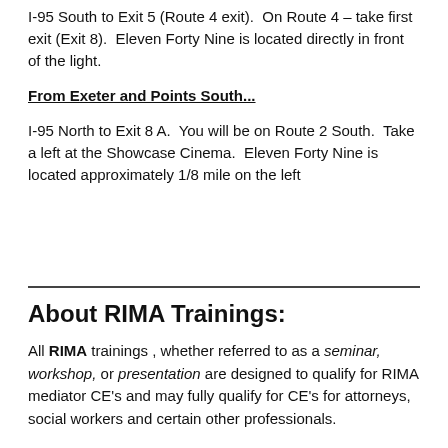I-95 South to Exit 5 (Route 4 exit). On Route 4 – take first exit (Exit 8). Eleven Forty Nine is located directly in front of the light.
From Exeter and Points South...
I-95 North to Exit 8 A. You will be on Route 2 South. Take a left at the Showcase Cinema. Eleven Forty Nine is located approximately 1/8 mile on the left
About RIMA Trainings:
All RIMA trainings , whether referred to as a seminar, workshop, or presentation are designed to qualify for RIMA mediator CE's and may fully qualify for CE's for attorneys, social workers and certain other professionals.